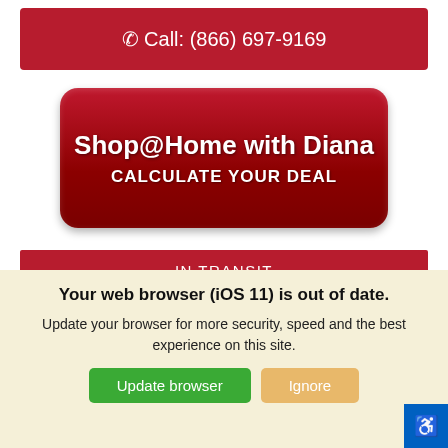Call: (866) 697-9169
[Figure (screenshot): Shop@Home with Diana - CALCULATE YOUR DEAL button, dark red rounded rectangle]
IN TRANSIT
Your web browser (iOS 11) is out of date. Update your browser for more security, speed and the best experience on this site.
Update browser   Ignore